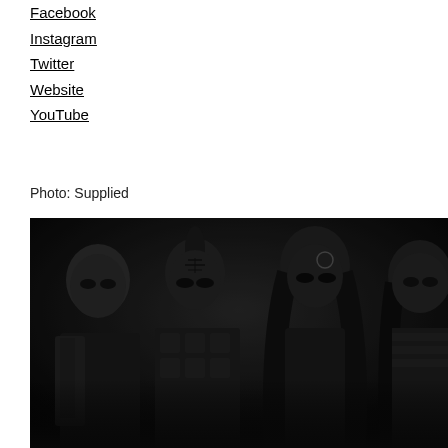Facebook
Instagram
Twitter
Website
YouTube
Photo: Supplied
[Figure (photo): Black and white promotional photo of four metal band members wearing dark, theatrical costumes and face paint/makeup, posed against a dark background. Members have various distinctive looks including face tattoos, long black hair, and elaborate armored clothing.]